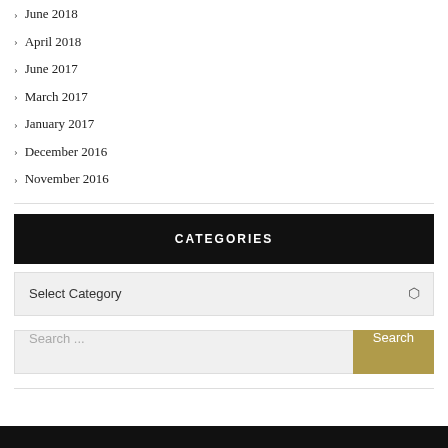June 2018
April 2018
June 2017
March 2017
January 2017
December 2016
November 2016
CATEGORIES
Select Category
Search ...